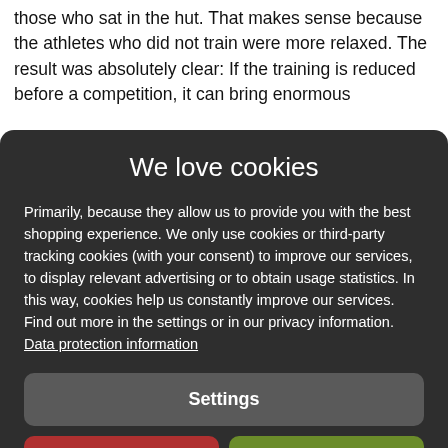those who sat in the hut. That makes sense because the athletes who did not train were more relaxed. The result was absolutely clear: If the training is reduced before a competition, it can bring enormous
We love cookies
Primarily, because they allow us to provide you with the best shopping experience. We only use cookies or third-party tracking cookies (with your consent) to improve our services, to display relevant advertising or to obtain usage statistics. In this way, cookies help us constantly improve our services. Find out more in the settings or in our privacy information. Data protection information
Settings
Reject all
Accept all